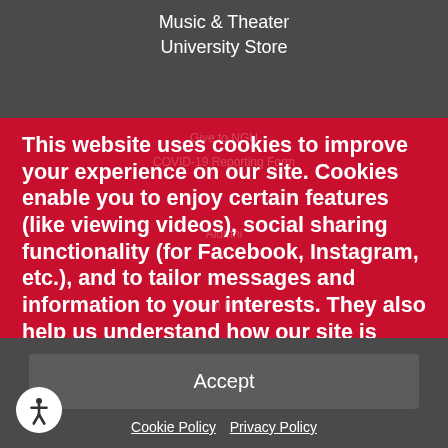Music & Theater
University Store
This website uses cookies to improve your experience on our site. Cookies enable you to enjoy certain features (like viewing videos), social sharing functionality (for Facebook, Instagram, etc.), and to tailor messages and information to your interests. They also help us understand how our site is being used. By continuing to use our site, you consent to the use of cookies.
Accept
Cookie Policy   Privacy Policy